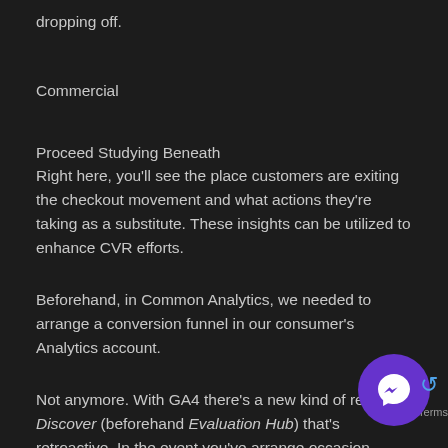dropping off.
Commercial
Proceed Studying Beneath
Right here, you'll see the place customers are exiting the checkout movement and what actions they're taking as a substitute. These insights can be utilized to enhance CVR efforts.
Beforehand, in Common Analytics, we needed to arrange a conversion funnel in our consumer's Analytics account.
Not anymore. With GA4 there's a new kind of report in Discover (beforehand Evaluation Hub) that's retroactive. In the event you've arrange occasion accompanying information in GA4, the report will